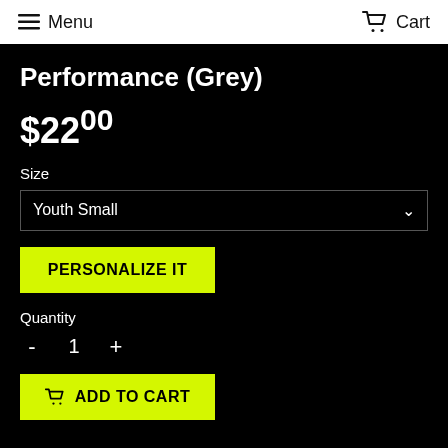Menu | Cart
Performance (Grey)
$22.00
Size
Youth Small
PERSONALIZE IT
Quantity
- 1 +
ADD TO CART